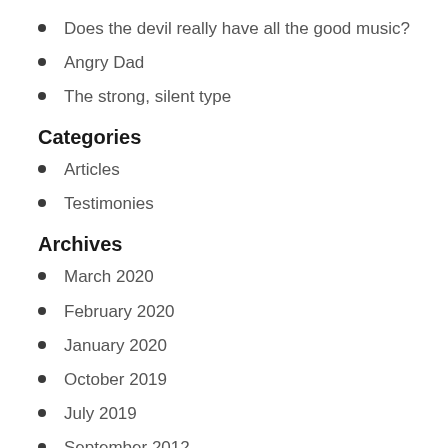Does the devil really have all the good music?
Angry Dad
The strong, silent type
Categories
Articles
Testimonies
Archives
March 2020
February 2020
January 2020
October 2019
July 2019
September 2012